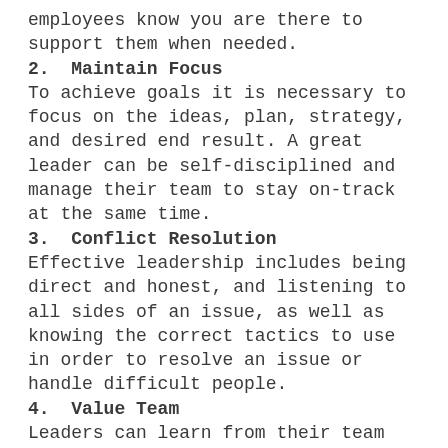employees know you are there to support them when needed.
2.  Maintain Focus
To achieve goals it is necessary to focus on the ideas, plan, strategy, and desired end result. A great leader can be self-disciplined and manage their team to stay on-track at the same time.
3.  Conflict Resolution
Effective leadership includes being direct and honest, and listening to all sides of an issue, as well as knowing the correct tactics to use in order to resolve an issue or handle difficult people.
4.  Value Team
Leaders can learn from their team too. Recognizing members within a team regarding particular areas of expertise can be beneficial to the whole team.
5.  Critical Thinking
Awareness of potential opportunities and the ability to take advantage of them to benefit the company or